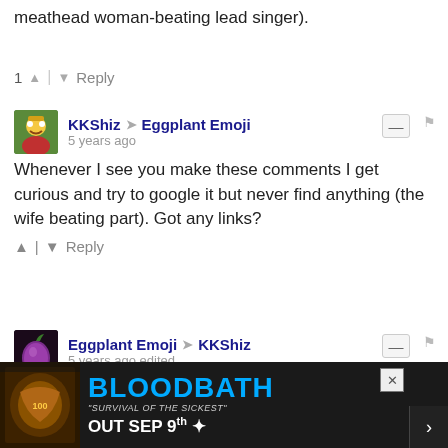Easy. none of them were in that band (except for the meathead woman-beating lead singer).
1 ▲ | ▼ Reply
KKShiz → Eggplant Emoji  5 years ago
Whenever I see you make these comments I get curious and try to google it but never find anything (the wife beating part). Got any links?
▲ | ▼ Reply
Eggplant Emoji → KKShiz  5 years ago edited
OK here's one (LOL Ozzfest message board)

http://www.ozzfest.com/foru...

And another (LOL Limp Bizkit message board)

http://www.limpbizkit.org/i...
[Figure (infographic): Advertisement banner for Bloodbath 'Survival of the Sickest' OUT SEP 9th, with album artwork on the left and blue text on dark background]